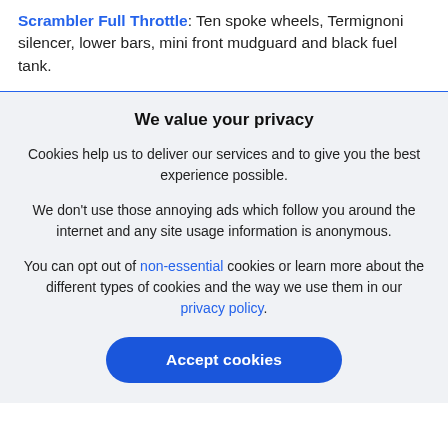Scrambler Full Throttle: Ten spoke wheels, Termignoni silencer, lower bars, mini front mudguard and black fuel tank.
We value your privacy
Cookies help us to deliver our services and to give you the best experience possible.
We don't use those annoying ads which follow you around the internet and any site usage information is anonymous.
You can opt out of non-essential cookies or learn more about the different types of cookies and the way we use them in our privacy policy.
Accept cookies